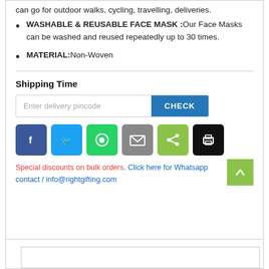can go for outdoor walks, cycling, travelling, deliveries.
WASHABLE & REUSABLE FACE MASK :Our Face Masks can be washed and reused repeatedly up to 30 times.
MATERIAL:Non-Woven
Shipping Time
Enter delivery pincode  CHECK
[Figure (other): Social sharing buttons: Facebook, Twitter, WhatsApp, Email, Share, Print]
Special discounts on bulk orders. Click here for Whatsapp contact / info@rightgifting.com